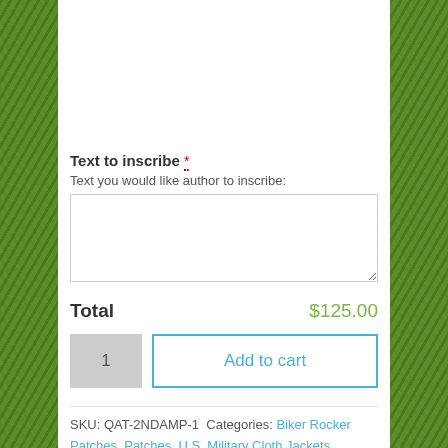Text to inscribe *
Text you would like author to inscribe:
Total   $125.00
SKU: QAT-2NDAMP-1 Categories: Biker Rocker Patches, Patches, U.S. Military Cloth Jackets